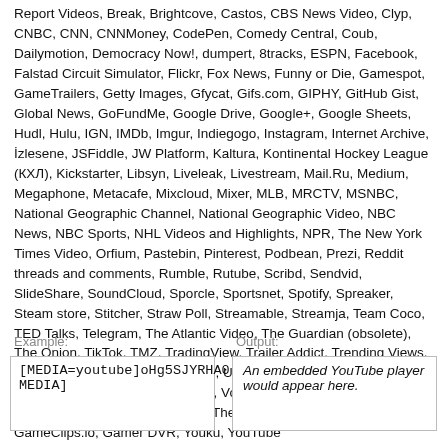Report Videos, Break, Brightcove, Castos, CBS News Video, Clyp, CNBC, CNN, CNNMoney, CodePen, Comedy Central, Coub, Dailymotion, Democracy Now!, dumpert, 8tracks, ESPN, Facebook, Falstad Circuit Simulator, Flickr, Fox News, Funny or Die, Gamespot, GameTrailers, Getty Images, Gfycat, Gifs.com, GIPHY, GitHub Gist, Global News, GoFundMe, Google Drive, Google+, Google Sheets, Hudl, Hulu, IGN, IMDb, Imgur, Indiegogo, Instagram, Internet Archive, İzlesene, JSFiddle, JW Platform, Kaltura, Kontinental Hockey League (КХЛ), Kickstarter, Libsyn, Liveleak, Livestream, Mail.Ru, Medium, Megaphone, Metacafe, Mixcloud, Mixer, MLB, MRCTV, MSNBC, National Geographic Channel, National Geographic Video, NBC News, NBC Sports, NHL Videos and Highlights, NPR, The New York Times Video, Orfium, Pastebin, Pinterest, Podbean, Prezi, Reddit threads and comments, Rumble, Rutube, Scribd, Sendvid, SlideShare, SoundCloud, Sporcle, Sportsnet, Spotify, Spreaker, Steam store, Stitcher, Straw Poll, Streamable, Streamja, Team Coco, TED Talks, Telegram, The Atlantic Video, The Guardian (obsolete), The Onion, TikTok, TMZ, TradingView, Trailer Addict, Trending Views, Tumblr, 247Sports, Twitch, Twitter, Ustream, VBOX7, Veoh, Vevo, Video Detective, Vimeo, Vine, VK, Vocaroo, Vox, Washington Post Video, Wistia, WorldStarHipHop, The Wall Street Journal Online, GameClips.io, Gamer DVR, Youku, YouTube
Example:
Output:
[MEDIA=youtube]oHg5SJYRHA0[/MEDIA]
An embedded YouTube player would appear here.